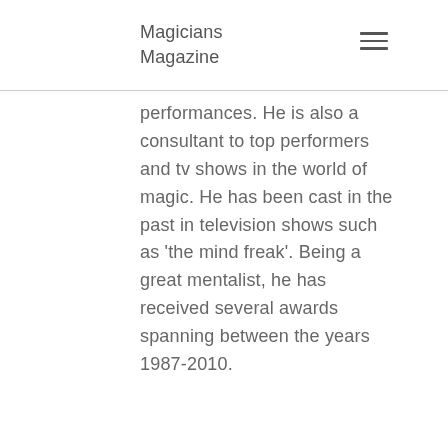Magicians Magazine
performances. He is also a consultant to top performers and tv shows in the world of magic. He has been cast in the past in television shows such as 'the mind freak'. Being a great mentalist, he has received several awards spanning between the years 1987-2010.